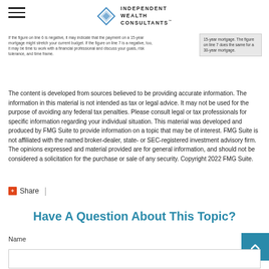Independent Wealth Consultants
If the figure on line 6 is negative, it may indicate that the payment on a 15-year mortgage might stretch your current budget. If the figure on line 7 is a negative, too, it may be time to work with a financial professional and discuss your goals, risk tolerance, and time frame.
15-year mortgage. The figure on line 7 does the same for a 30-year mortgage.
The content is developed from sources believed to be providing accurate information. The information in this material is not intended as tax or legal advice. It may not be used for the purpose of avoiding any federal tax penalties. Please consult legal or tax professionals for specific information regarding your individual situation. This material was developed and produced by FMG Suite to provide information on a topic that may be of interest. FMG Suite is not affiliated with the named broker-dealer, state- or SEC-registered investment advisory firm. The opinions expressed and material provided are for general information, and should not be considered a solicitation for the purchase or sale of any security. Copyright 2022 FMG Suite.
Share  |
Have A Question About This Topic?
Name